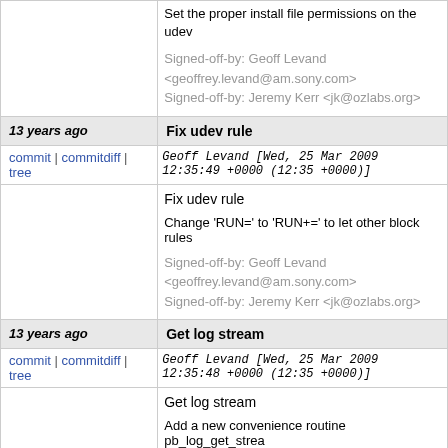Set the proper install file permissions on the udev

Signed-off-by: Geoff Levand <geoffrey.levand@am.sony.com>
Signed-off-by: Jeremy Kerr <jk@ozlabs.org>
13 years ago | Fix udev rule
commit | commitdiff | tree   Geoff Levand [Wed, 25 Mar 2009 12:35:49 +0000 (12:35 +0000)]
Fix udev rule

Change 'RUN=' to 'RUN+=' to let other block rules

Signed-off-by: Geoff Levand <geoffrey.levand@am.sony.com>
Signed-off-by: Jeremy Kerr <jk@ozlabs.org>
13 years ago | Get log stream
commit | commitdiff | tree   Geoff Levand [Wed, 25 Mar 2009 12:35:48 +0000 (12:35 +0000)]
Get log stream

Add a new convenience routine pb_log_get_stream current PB_log stream.  Used to setup the ps3-utils library to log
to the pb_log.